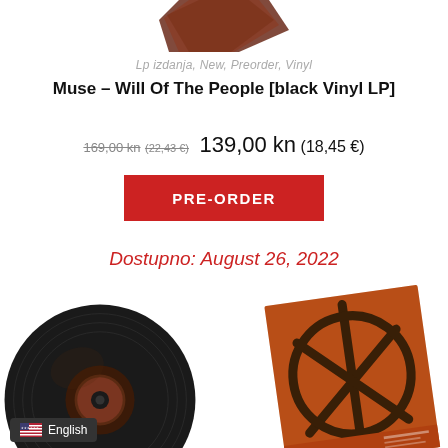[Figure (photo): Partial top of album artwork visible at top of page, appears to be a dark brown/red object]
Lp izdanja, New, Preorder, Vinyl
Muse – Will Of The People [black Vinyl LP]
169,00 kn (22,43 €) 139,00 kn (18,45 €)
PRE-ORDER
Dostupno: August 26, 2022
[Figure (photo): Two product images at bottom: left shows a black vinyl record disc with album artwork visible, right shows the album cover for Muse Will Of The People tilted at an angle]
English